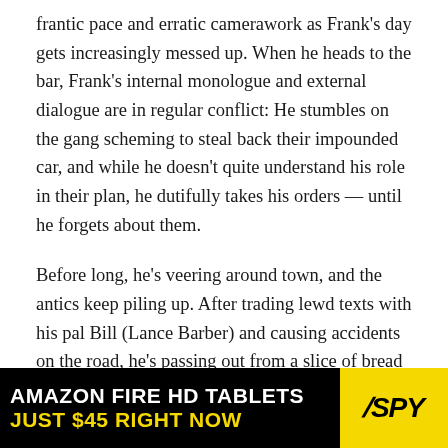frantic pace and erratic camerawork as Frank's day gets increasingly messed up. When he heads to the bar, Frank's internal monologue and external dialogue are in regular conflict: He stumbles on the gang scheming to steal back their impounded car, and while he doesn't quite understand his role in their plan, he dutifully takes his orders — until he forgets about them.
Before long, he's veering around town, and the antics keep piling up. After trading lewd texts with his pal Bill (Lance Barber) and causing accidents on the road, he's passing out from a slice of bread and waking up in the hospital, speeding back toward the gang, accidentally eating sleeping pills, stumbling into a shiva and snorting drugs in the bathroom, witnessing a hallucinatory vision of his head exploding like a balloon…and let's not forget about the
[Figure (other): Advertisement banner for Amazon Fire HD Tablets - black background with white text 'AMAZON FIRE HD TABLETS' and yellow text 'JUST $45 RIGHT NOW', with SPY logo on yellow background on the right.]